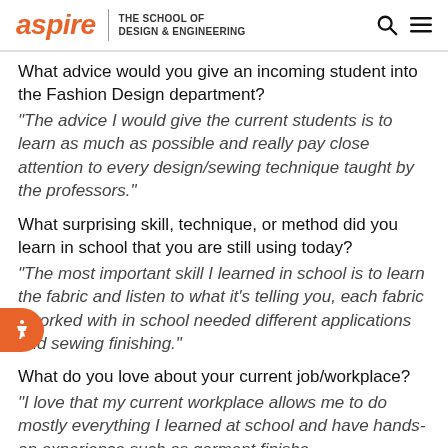aspire | THE SCHOOL OF DESIGN & ENGINEERING
What advice would you give an incoming student into the Fashion Design department?
“The advice I would give the current students is to learn as much as possible and really pay close attention to every design/sewing technique taught by the professors.”
What surprising skill, technique, or method did you learn in school that you are still using today?
“The most important skill I learned in school is to learn the fabric and listen to what it’s telling you, each fabric I worked with in school needed different applications and sewing finishing.”
What do you love about your current job/workplace?
“I love that my current workplace allows me to do mostly everything I learned at school and have hands-on experience such as garment finishes…